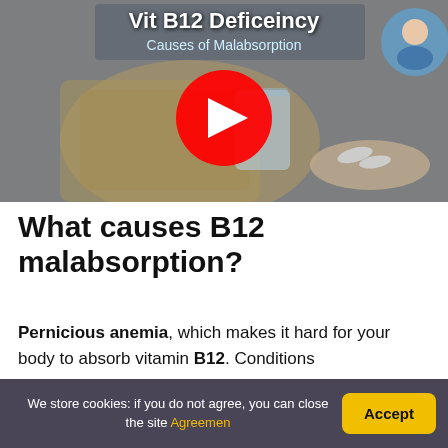[Figure (screenshot): YouTube video thumbnail showing a person in a knitted sweater holding a glass of water with pills in hand. Title text reads 'Vit B12 Deficeincy – Causes of Malabsorption' with a doctor avatar in top right and YouTube play button in centre.]
What causes B12 malabsorption?
Pernicious anemia, which makes it hard for your body to absorb vitamin B12. Conditions
We store cookies: if you do not agree, you can close the site Agreemen    Accept